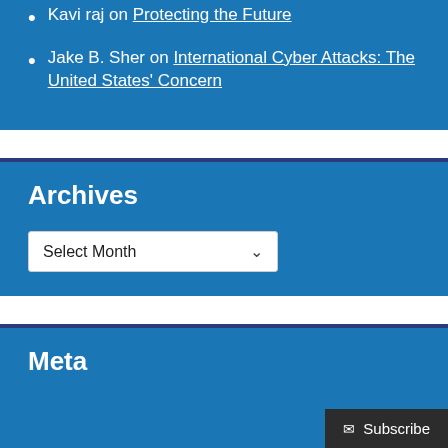Kavi raj on Protecting the Future
Jake B. Sher on International Cyber Attacks: The United States' Concern
Archives
Select Month
Meta
Subscribe